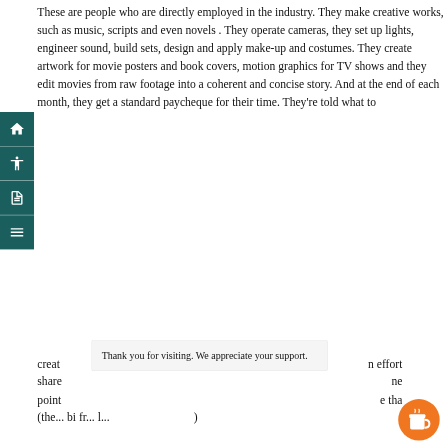These are people who are directly employed in the industry. They make creative works, such as music, scripts and even novels . They operate cameras, they set up lights, engineer sound, build sets, design and apply make-up and costumes. They create artwork for movie posters and book covers, motion graphics for TV shows and they edit movies from raw footage into a coherent and concise story. And at the end of each month, they get a standard paycheque for their time. They're told what to creat... n effort share... ne... point... e tha...
[Figure (infographic): Left sidebar with four teal/dark-green icon buttons: home icon, person-reading icon, document icon, menu/hamburger icon]
Thank you for visiting. We appreciate your support.
[Figure (illustration): Orange circular button with a coffee cup icon (Buy Me a Coffee style)]
(the... bi fr... l... d... )